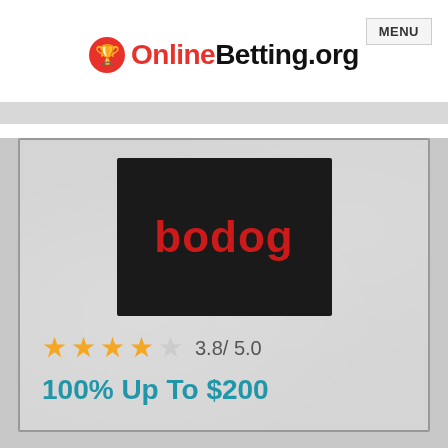MENU
[Figure (logo): OnlineBetting.org logo with trophy icon]
[Figure (logo): Bodog logo - white 'bodog' text in red on black background]
3.8/ 5.0
100% Up To $200